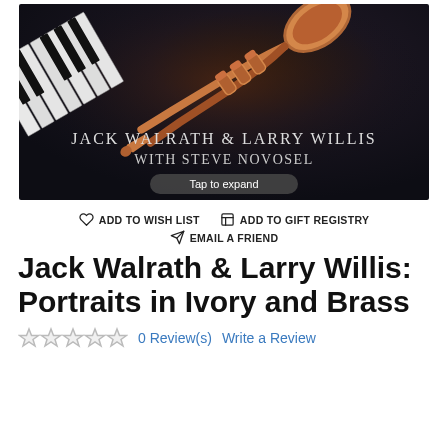[Figure (photo): Album cover for Jack Walrath & Larry Willis with Steve Novosel - Portraits in Ivory and Brass. Dark background with piano keys and a brass trumpet. Artist names in small-caps serif font. A 'Tap to expand' overlay button is shown.]
ADD TO WISH LIST   ADD TO GIFT REGISTRY   EMAIL A FRIEND
Jack Walrath & Larry Willis: Portraits in Ivory and Brass
0 Review(s)   Write a Review